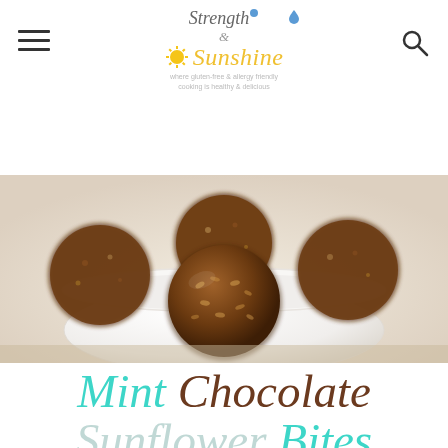Strength & Sunshine — where gluten-free & allergy friendly cooking is healthy & delicious
[Figure (photo): Close-up photo of chocolate sunflower seed energy balls in a white ceramic bowl, placed on a burlap surface. The balls are round, textured, dark brown.]
Mint Chocolate Sunflower Bites